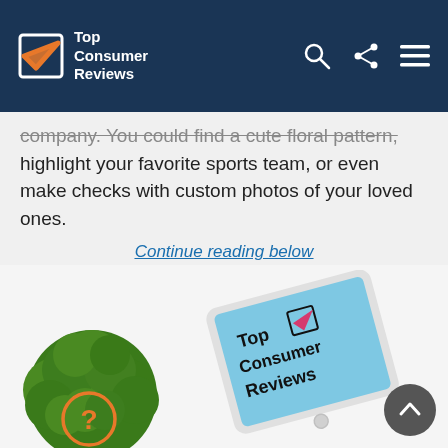Top Consumer Reviews
company. You could find a cute floral pattern, highlight your favorite sports team, or even make checks with custom photos of your loved ones.
Continue reading below
[Figure (photo): A small green succulent plant in a grey pot viewed from above, and a tablet displaying the Top Consumer Reviews logo on a blue background, placed at an angle on a white surface.]